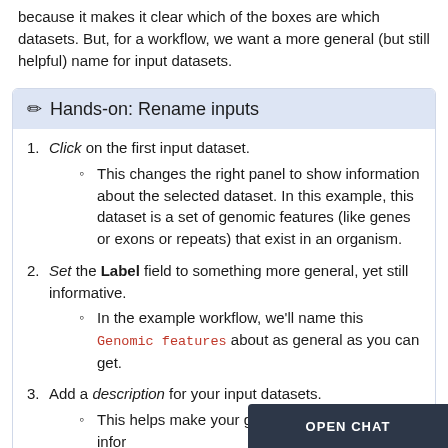because it makes it clear which of the boxes are which datasets. But, for a workflow, we want a more general (but still helpful) name for input datasets.
✏ Hands-on: Rename inputs
Click on the first input dataset. This changes the right panel to show information about the selected dataset. In this example, this dataset is a set of genomic features (like genes or exons or repeats) that exist in an organism.
Set the Label field to something more general, yet still informative. In the example workflow, we'll name this Genomic features about as general as you can get.
Add a description for your input datasets. This helps make your ge... dataset name more infor...